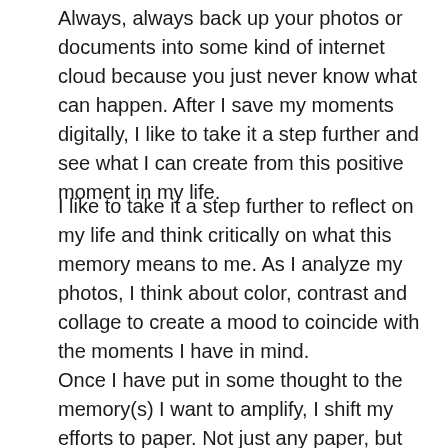Always, always back up your photos or documents into some kind of internet cloud because you just never know what can happen. After I save my moments digitally, I like to take it a step further and see what I can create from this positive moment in my life.
I like to take it a step further to reflect on my life and think critically on what this memory means to me. As I analyze my photos, I think about color, contrast and collage to create a mood to coincide with the moments I have in mind.
Once I have put in some thought to the memory(s) I want to amplify, I shift my efforts to paper. Not just any paper, but my bullet journal. Since my bullet journal is my go to for being as productive as possible, I want to include the moments that helped shape who I am in my #1 notebook.
It makes perfect sense to include collage\art journaling in your bullet journal to complete the spread with a date. You